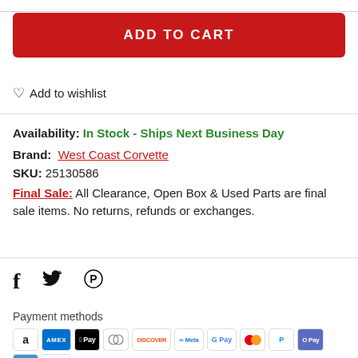ADD TO CART
♡ Add to wishlist
Availability: In Stock - Ships Next Business Day
Brand: West Coast Corvette
SKU: 25130586
Final Sale: All Clearance, Open Box & Used Parts are final sale items. No returns, refunds or exchanges.
[Figure (other): Social media share icons: Facebook (f), Twitter (bird), Pinterest (P)]
Payment methods
[Figure (other): Payment method icons: Amazon, Amex, Apple Pay, Diners Club, Discover, Meta Pay, Google Pay, Mastercard, PayPal, Shop Pay, Venmo, Visa]